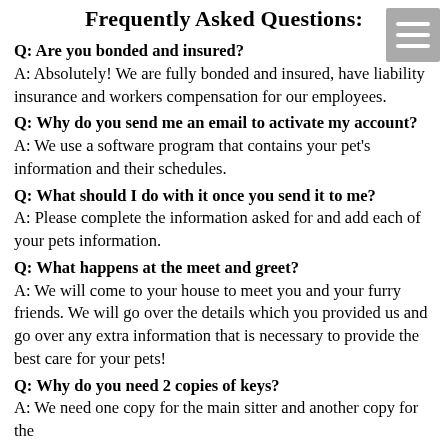Frequently Asked Questions:
Q: Are you bonded and insured?
A: Absolutely! We are fully bonded and insured, have liability insurance and workers compensation for our employees.
Q: Why do you send me an email to activate my account?
A: We use a software program that contains your pet's information and their schedules.
Q: What should I do with it once you send it to me?
A: Please complete the information asked for and add each of your pets information.
Q: What happens at the meet and greet?
A: We will come to your house to meet you and your furry friends. We will go over the details which you provided us and go over any extra information that is necessary to provide the best care for your pets!
Q: Why do you need 2 copies of keys?
A: We need one copy for the main sitter and another copy for the